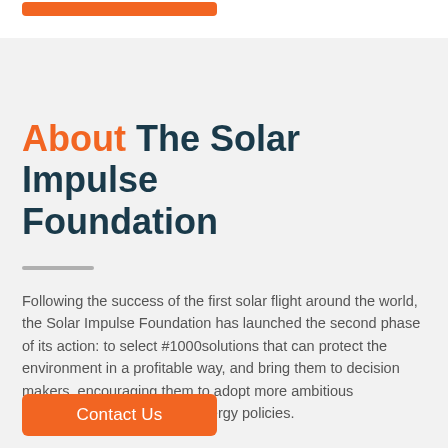About The Solar Impulse Foundation
Following the success of the first solar flight around the world, the Solar Impulse Foundation has launched the second phase of its action: to select #1000solutions that can protect the environment in a profitable way, and bring them to decision makers, encouraging them to adopt more ambitious environmental targets and energy policies.
Contact Us